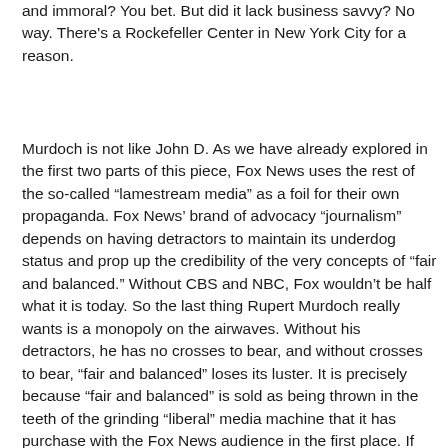and immoral? You bet. But did it lack business savvy? No way. There's a Rockefeller Center in New York City for a reason.
Murdoch is not like John D. As we have already explored in the first two parts of this piece, Fox News uses the rest of the so-called “lamestream media” as a foil for their own propaganda. Fox News’ brand of advocacy “journalism” depends on having detractors to maintain its underdog status and prop up the credibility of the very concepts of “fair and balanced.” Without CBS and NBC, Fox wouldn’t be half what it is today. So the last thing Rupert Murdoch really wants is a monopoly on the airwaves. Without his detractors, he has no crosses to bear, and without crosses to bear, “fair and balanced” loses its luster. It is precisely because “fair and balanced” is sold as being thrown in the teeth of the grinding “liberal” media machine that it has purchase with the Fox News audience in the first place. If that “liberal” machine were to disappear as a result of Fox’s success, Fox would lose its appeal as an underdog and could rapidly lose its very reason for being. Fox needs the audience it has. They cannot remake themselves and garner a new demographic,